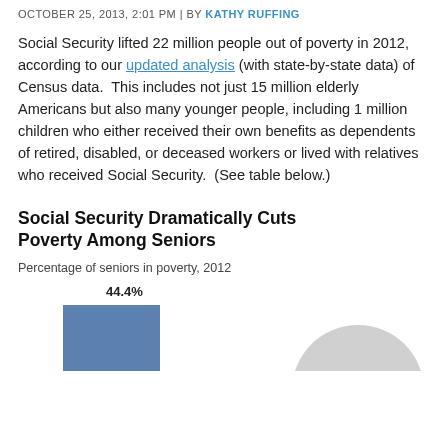OCTOBER 25, 2013, 2:01 PM | BY KATHY RUFFING
Social Security lifted 22 million people out of poverty in 2012, according to our updated analysis (with state-by-state data) of Census data. This includes not just 15 million elderly Americans but also many younger people, including 1 million children who either received their own benefits as dependents of retired, disabled, or deceased workers or lived with relatives who received Social Security. (See table below.)
Social Security Dramatically Cuts Poverty Among Seniors
Percentage of seniors in poverty, 2012
[Figure (bar-chart): Bar chart partially shown; left bar labeled 44.4% visible, right bar partially shown as lighter shape]